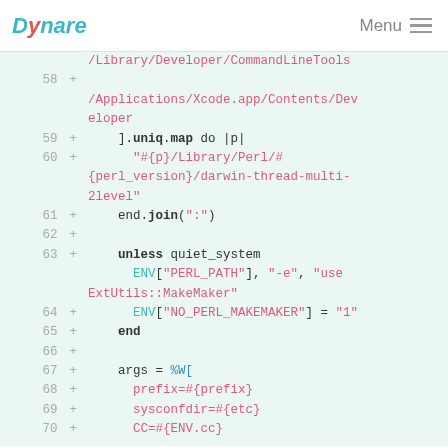Dynare | Menu
[Figure (screenshot): Code diff view showing lines 58-70 of a Ruby script with additions marked by + signs. Lines show path references, Perl library paths, method calls like uniq.map, join, unless, ENV assignments, and args array.]